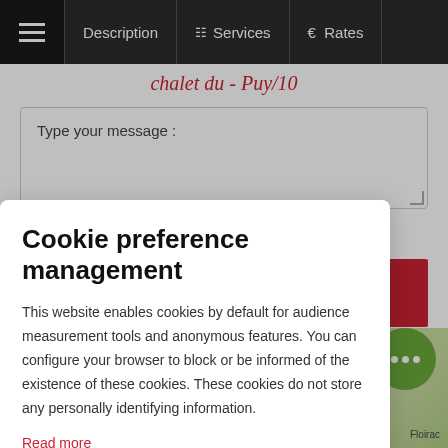Description | Services | Rates
Type your message :
Cookie preference management
This website enables cookies by default for audience measurement tools and anonymous features. You can configure your browser to block or be informed of the existence of these cookies. These cookies do not store any personally identifying information.
Read more
No thanks | I choose | Ok for me